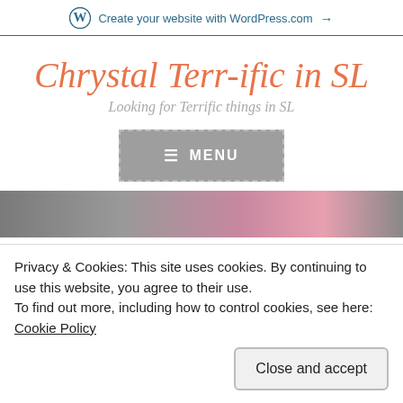Create your website with WordPress.com →
Chrystal Terr-ific in SL
Looking for Terrific things in SL
[Figure (screenshot): Grey menu button with dashed border showing hamburger icon and MENU text]
[Figure (photo): Partial photo showing pink/magenta object on grey surface]
Privacy & Cookies: This site uses cookies. By continuing to use this website, you agree to their use.
To find out more, including how to control cookies, see here: Cookie Policy
Close and accept